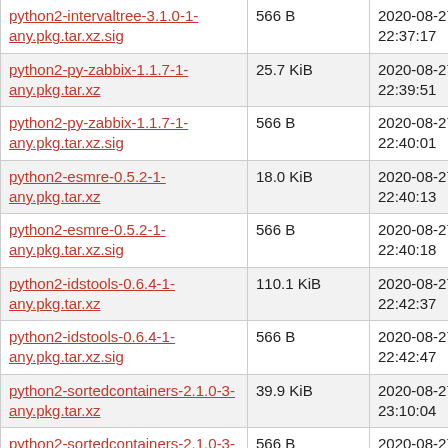| Filename | Size | Date |
| --- | --- | --- |
| python2-intervaltree-3.1.0-1-any.pkg.tar.xz.sig | 566 B | 2020-08-27 22:37:17 |
| python2-py-zabbix-1.1.7-1-any.pkg.tar.xz | 25.7 KiB | 2020-08-27 22:39:51 |
| python2-py-zabbix-1.1.7-1-any.pkg.tar.xz.sig | 566 B | 2020-08-27 22:40:01 |
| python2-esmre-0.5.2-1-any.pkg.tar.xz | 18.0 KiB | 2020-08-27 22:40:13 |
| python2-esmre-0.5.2-1-any.pkg.tar.xz.sig | 566 B | 2020-08-27 22:40:18 |
| python2-idstools-0.6.4-1-any.pkg.tar.xz | 110.1 KiB | 2020-08-27 22:42:37 |
| python2-idstools-0.6.4-1-any.pkg.tar.xz.sig | 566 B | 2020-08-27 22:42:47 |
| python2-sortedcontainers-2.1.0-3-any.pkg.tar.xz | 39.9 KiB | 2020-08-27 23:10:04 |
| python2-sortedcontainers-2.1.0-3-any.pkg.tar.xz.sig | 566 B | 2020-08-27 23:10:14 |
| libbfio-20200409-1-armv6h.pkg.tar.xz | 291.1 KiB | 2020-08-28 16:35:50 |
| libbfio-20200409-1-armv6h.pkg.tar.xz.sig | 566 B | 2020-08-28 16:35:53 |